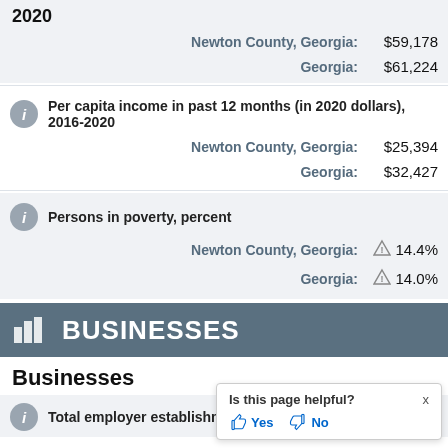2020
Newton County, Georgia: $59,178
Georgia: $61,224
Per capita income in past 12 months (in 2020 dollars), 2016-2020
Newton County, Georgia: $25,394
Georgia: $32,427
Persons in poverty, percent
Newton County, Georgia: 14.4%
Georgia: 14.0%
BUSINESSES
Businesses
Total employer establishment